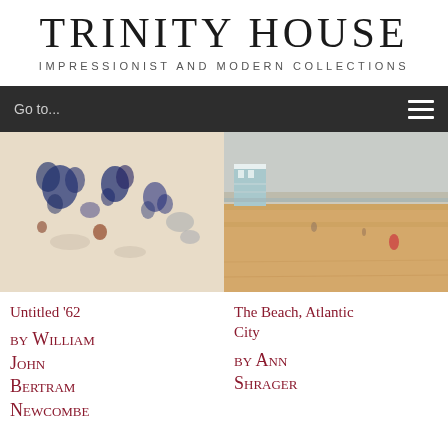TRINITY HOUSE
IMPRESSIONIST AND MODERN COLLECTIONS
Go to...
[Figure (photo): Abstract impressionist painting with blue ink-like figures on a pale beige/cream background, suggesting human or organic forms]
[Figure (photo): Painting of a beach scene, Atlantic City, showing sandy shore, a blue and white structure, figures on the beach, ocean and sky in muted tones]
Untitled '62
The Beach, Atlantic City
by William John Bertram Newcombe
by Ann Shrager